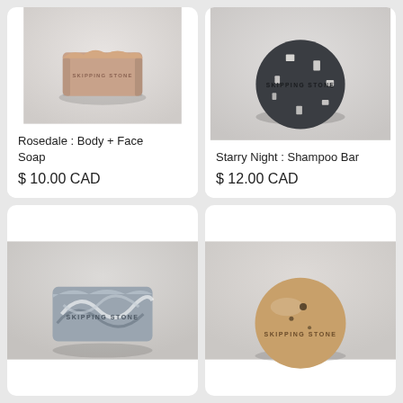[Figure (photo): Rectangular bar of beige/pink Skipping Stone soap on white/grey background]
Rosedale : Body + Face Soap
$ 10.00 CAD
[Figure (photo): Round dark charcoal/black Skipping Stone shampoo bar on white/grey background]
Starry Night : Shampoo Bar
$ 12.00 CAD
[Figure (photo): Rectangular bar of blue-grey swirled Skipping Stone soap, partially visible, bottom of page]
[Figure (photo): Round tan/beige Skipping Stone bar, partially visible, bottom of page]